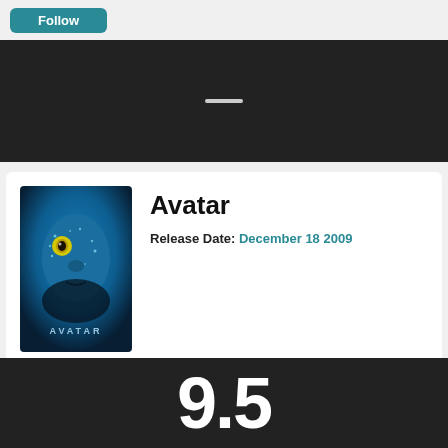[Figure (screenshot): Top bar with teal Follow button on light gray background]
[Figure (screenshot): Dark panel with a small white dash/line in center]
Avatar
Release Date: December 18 2009
[Figure (photo): Avatar movie poster showing blue Na'vi face with yellow eye and AVATAR text]
Follow
9.5